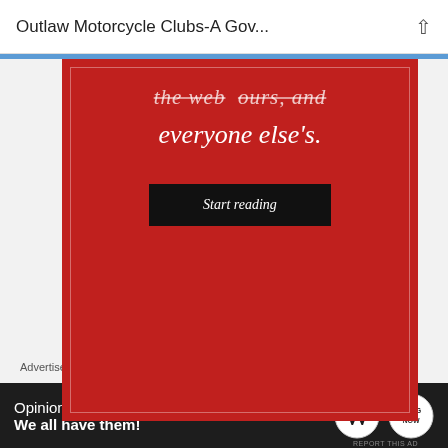Outlaw Motorcycle Clubs-A Gov...
[Figure (screenshot): Red advertisement banner with white italic text 'the web ours, and everyone else's.' and a dark 'Start reading' button]
REPORT THIS AD
Law abiding  FEBRUARY 11, 2016 AT 11:37 PM
What a crock of shit. How convenient that this writer cites only 2 major
Advertisements
[Figure (screenshot): Dark advertisement banner: 'Opinions. We all have them!' with WordPress and Blog logos]